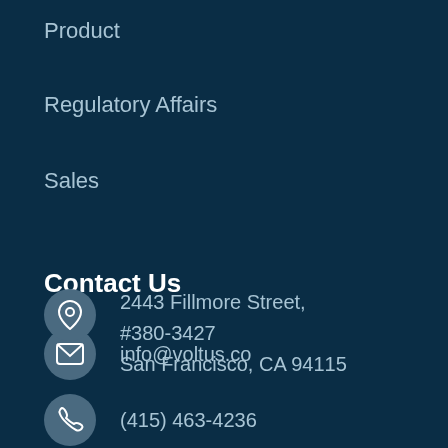Product
Regulatory Affairs
Sales
Contact Us
info@voltus.co
(415) 463-4236
2443 Fillmore Street, #380-3427 San Francisco, CA 94115